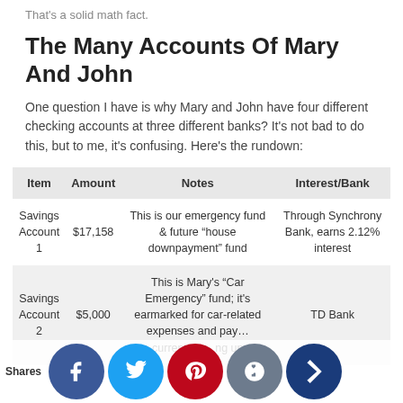That's a solid math fact.
The Many Accounts Of Mary And John
One question I have is why Mary and John have four different checking accounts at three different banks? It's not bad to do this, but to me, it's confusing. Here's the rundown:
| Item | Amount | Notes | Interest/Bank |
| --- | --- | --- | --- |
| Savings Account 1 | $17,158 | This is our emergency fund & future "house downpayment" fund | Through Synchrony Bank, earns 2.12% interest |
| Savings Account 2 | $5,000 | This is Mary's "Car Emergency" fund; it's earmarked for car-related expenses and paying... currently saving up | TD Bank |